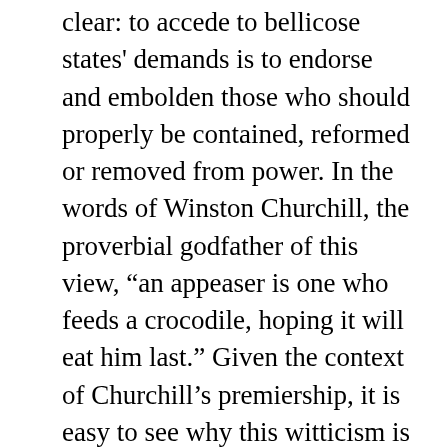clear: to accede to bellicose states' demands is to endorse and embolden those who should properly be contained, reformed or removed from power. In the words of Winston Churchill, the proverbial godfather of this view, “an appeaser is one who feeds a crocodile, hoping it will eat him last.” Given the context of Churchill’s premiership, it is easy to see why this witticism is today viewed as a genuine—indeed, timeless—insight; a veritable axiom of statecraft. The Allies’ fateful attempts at appeasing Nazi Germany in the 1930s still reverberate, and understandably so.